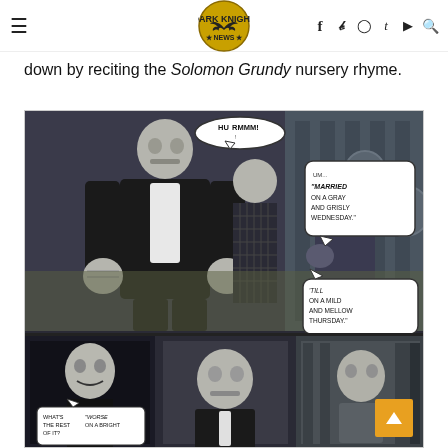Dark Knight News [navigation header with logo, social icons]
down by reciting the Solomon Grundy nursery rhyme.
[Figure (illustration): Comic book panels showing Solomon Grundy (a large grey-skinned villain in a dark suit) confronting Batman. Speech bubbles read: 'HURMMM!', 'UM... MARRIED ON A GRAY AND GRISLY WEDNESDAY.', ''TILL ON A MILD AND MELLOW THURSDAY.' Bottom row shows three smaller panels with additional characters including the Joker and more confrontation scenes with speech bubble 'WHAT'S THE REST OF IT?' and 'WORSE ON A BRIGHT']